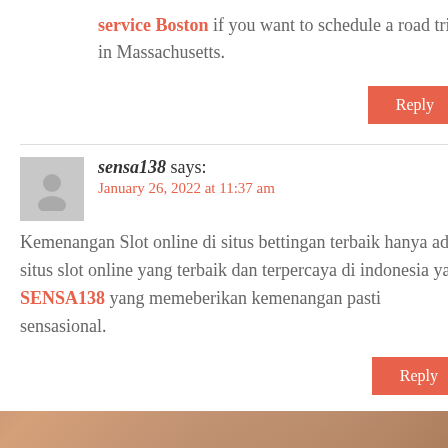service Boston if you want to schedule a road trip in Massachusetts.
Reply
sensa138 says:
January 26, 2022 at 11:37 am
Kemenangan Slot online di situs bettingan terbaik hanya ada situs slot online yang terbaik dan terpercaya di indonesia yaitu SENSA138 yang memeberikan kemenangan pasti sensasional.
Reply